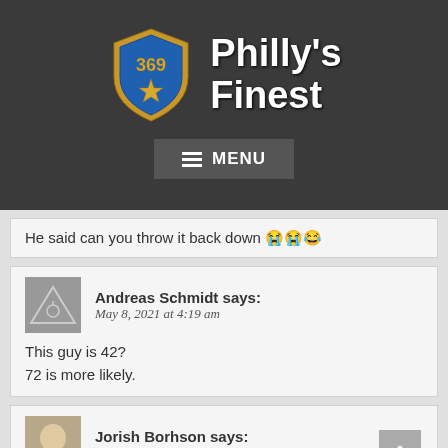[Figure (logo): Philly's Finest website logo with police badge showing '369' and a star, alongside bold white text 'Philly's Finest' on dark background, with a MENU button below]
He said can you throw it back down 😭😭😂
Andreas Schmidt says:
May 8, 2021 at 4:19 am

This guy is 42?
72 is more likely.
Jorish Borhson says:
May 8, 2021 at 4:19 am